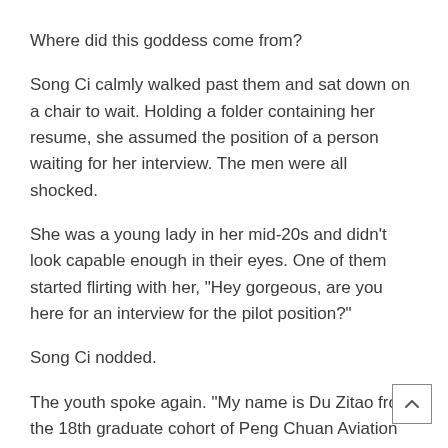Where did this goddess come from?
Song Ci calmly walked past them and sat down on a chair to wait. Holding a folder containing her resume, she assumed the position of a person waiting for her interview. The men were all shocked.
She was a young lady in her mid-20s and didn't look capable enough in their eyes. One of them started flirting with her, “Hey gorgeous, are you here for an interview for the pilot position?”
Song Ci nodded.
The youth spoke again. “My name is Du Zitao from the 18th graduate cohort of Peng Chuan Aviation University. What about you, gorgeous?”